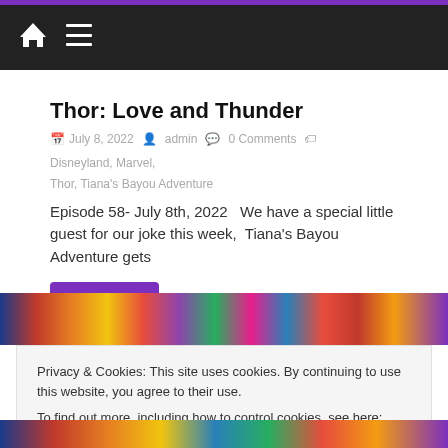Navigation bar with home icon and hamburger menu
Thor: Love and Thunder
July 8, 2022  admin  0 Comments  Disneyland, Marvel, Thor, Tiana's Bayou Adventure
Episode 58- July 8th, 2022   We have a special little guest for our joke this week,  Tiana's Bayou Adventure gets
Read more
[Figure (photo): Colorful image strip with Disney-themed characters]
Privacy & Cookies: This site uses cookies. By continuing to use this website, you agree to their use.
To find out more, including how to control cookies, see here: Privacy Policy
Close and Accept
[Figure (photo): Colorful image strip with Disney-themed characters at bottom]